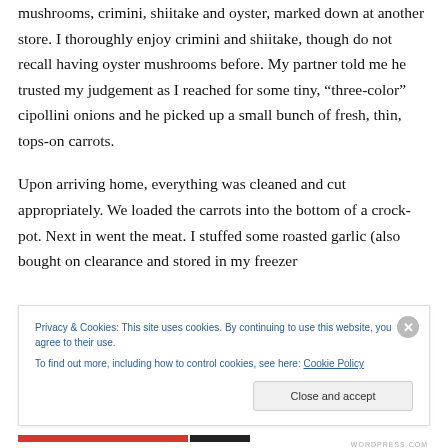mushrooms, crimini, shiitake and oyster, marked down at another store. I thoroughly enjoy crimini and shiitake, though do not recall having oyster mushrooms before. My partner told me he trusted my judgement as I reached for some tiny, “three-color” cipollini onions and he picked up a small bunch of fresh, thin, tops-on carrots.
Upon arriving home, everything was cleaned and cut appropriately. We loaded the carrots into the bottom of a crock-pot. Next in went the meat. I stuffed some roasted garlic (also bought on clearance and stored in my freezer
Privacy & Cookies: This site uses cookies. By continuing to use this website, you agree to their use.
To find out more, including how to control cookies, see here: Cookie Policy